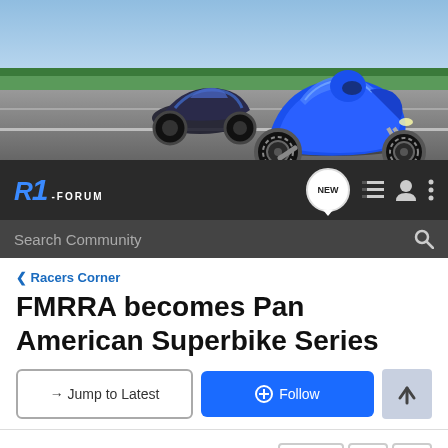[Figure (photo): Hero banner showing two blue Yamaha R1 motorcycles racing on a track with green barriers and sky in the background]
R1-FORUM navigation bar with logo, NEW badge, list icon, user icon, and menu icon
Search Community
< Racers Corner
FMRRA becomes Pan American Superbike Series
→ Jump to Latest
+ Follow
1 - 20 of 43 Posts
1 of 3